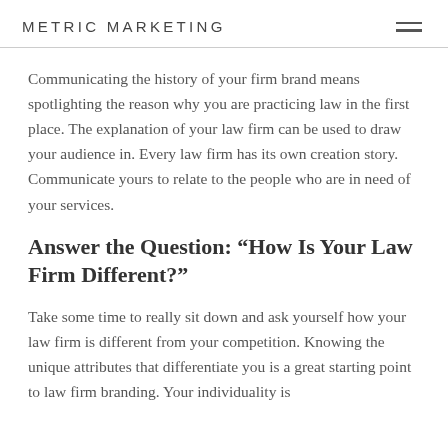METRIC MARKETING
Communicating the history of your firm brand means spotlighting the reason why you are practicing law in the first place. The explanation of your law firm can be used to draw your audience in. Every law firm has its own creation story. Communicate yours to relate to the people who are in need of your services.
Answer the Question: “How Is Your Law Firm Different?”
Take some time to really sit down and ask yourself how your law firm is different from your competition. Knowing the unique attributes that differentiate you is a great starting point to law firm branding. Your individuality is